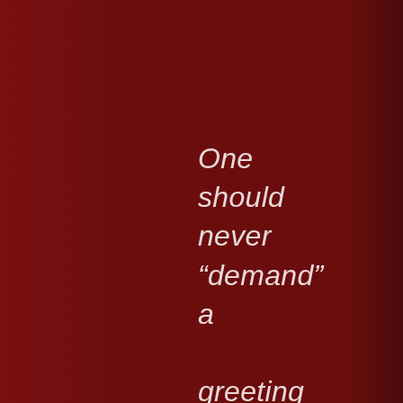One should never “demand” a greeting of ladies or those of higher social